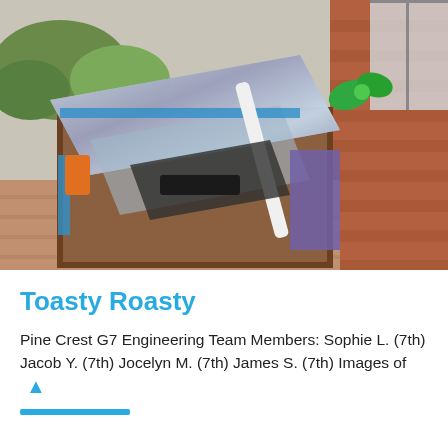[Figure (photo): A solar oven / solar cooker made from a cardboard box with reflective panels (mylar or mirror-like material), covered in brown packing tape, with blue tape accents and a purple side. A white PVC pipe acts as a support strut. A green bow/decoration is visible on the right. The device sits on a brick patio near a brick wall outdoors.]
Toasty Roasty
Pine Crest G7 Engineering Team Members: Sophie L. (7th) Jacob Y. (7th) Jocelyn M. (7th) James S. (7th) Images of